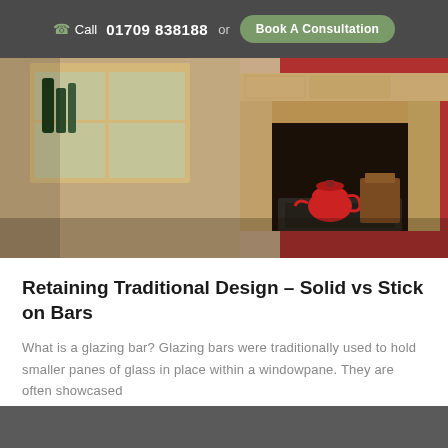Call 01709 838188 or Book A Consultation
[Figure (photo): Interior photo of a traditional stone fireplace with a red kettle sitting on a stove insert, red wall in background, and a window with bottles visible to the left.]
Retaining Traditional Design – Solid vs Stick on Bars
What is a glazing bar? Glazing bars were traditionally used to hold smaller panes of glass in place within a windowpane. They are often showcased